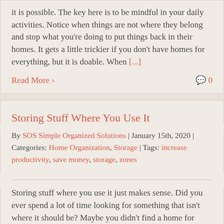it is possible. The key here is to be mindful in your daily activities. Notice when things are not where they belong and stop what you're doing to put things back in their homes. It gets a little trickier if you don't have homes for everything, but it is doable. When [...]
Read More >
💬 0
Storing Stuff Where You Use It
By SOS Simple Organized Solutions | January 15th, 2020 | Categories: Home Organization, Storage | Tags: increase productivity, save money, storage, zones
Storing stuff where you use it just makes sense. Did you ever spend a lot of time looking for something that isn't where it should be? Maybe you didn't find a home for